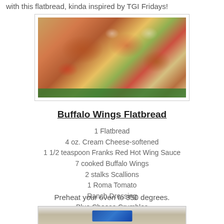with this flatbread, kinda inspired by TGI Fridays!
[Figure (photo): Buffalo wings flatbread served on a green plate, topped with vegetables, drizzled with white sauce]
Buffalo Wings Flatbread
1 Flatbread
4 oz. Cream Cheese-softened
1 1/2 teaspoon Franks Red Hot Wing Sauce
7 cooked Buffalo Wings
2 stalks Scallions
1 Roma Tomato
Ranch Dressing
Blue Cheese Crumbles
Preheat your oven to 350 degrees.
[Figure (photo): Partial bottom photo of flatbread preparation steps]